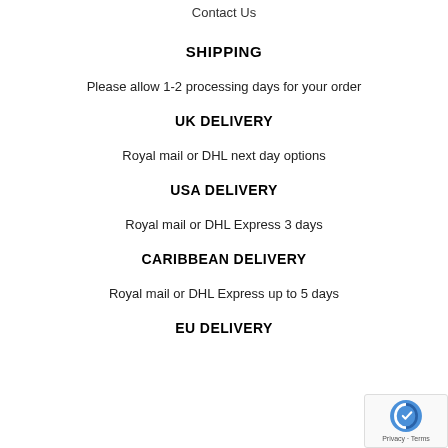Contact Us
SHIPPING
Please allow 1-2 processing days for your order
UK DELIVERY
Royal mail or DHL next day options
USA DELIVERY
Royal mail or DHL Express 3 days
CARIBBEAN DELIVERY
Royal mail or DHL Express up to 5 days
EU DELIVERY